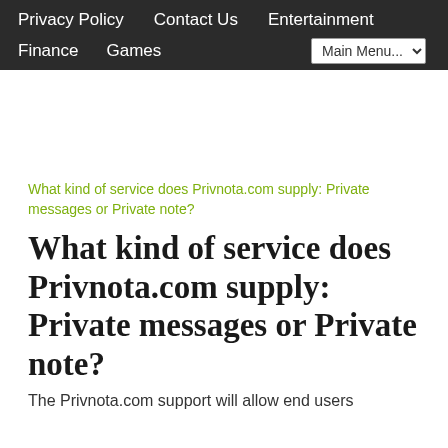Privacy Policy   Contact Us   Entertainment   Finance   Games   Main Menu...
[Figure (other): Broken image placeholder with alt text: What kind of service does Privnota.com supply: Private messages or Private note?]
What kind of service does Privnota.com supply: Private messages or Private note?
The Privnota.com support will allow end users